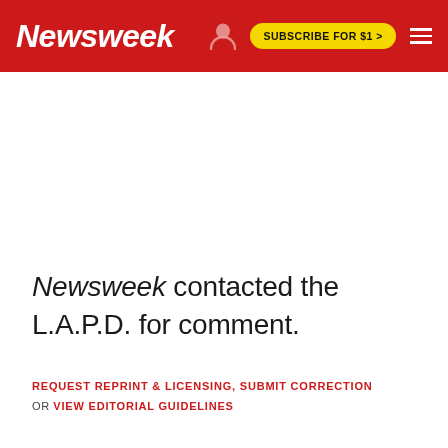Newsweek | SUBSCRIBE FOR $1 >
Newsweek contacted the L.A.P.D. for comment.
REQUEST REPRINT & LICENSING, SUBMIT CORRECTION OR VIEW EDITORIAL GUIDELINES